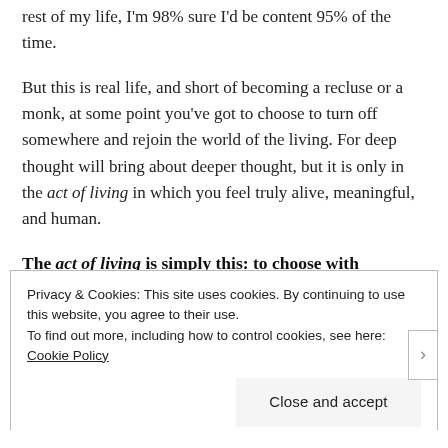rest of my life, I'm 98% sure I'd be content 95% of the time.
But this is real life, and short of becoming a recluse or a monk, at some point you've got to choose to turn off somewhere and rejoin the world of the living. For deep thought will bring about deeper thought, but it is only in the act of living in which you feel truly alive, meaningful, and human.
The act of living is simply this: to choose with
Privacy & Cookies: This site uses cookies. By continuing to use this website, you agree to their use.
To find out more, including how to control cookies, see here: Cookie Policy
Close and accept